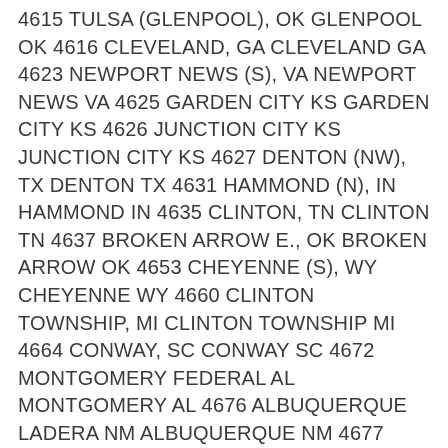4615 TULSA (GLENPOOL), OK GLENPOOL OK 4616 CLEVELAND, GA CLEVELAND GA 4623 NEWPORT NEWS (S), VA NEWPORT NEWS VA 4625 GARDEN CITY KS GARDEN CITY KS 4626 JUNCTION CITY KS JUNCTION CITY KS 4627 DENTON (NW), TX DENTON TX 4631 HAMMOND (N), IN HAMMOND IN 4635 CLINTON, TN CLINTON TN 4637 BROKEN ARROW E., OK BROKEN ARROW OK 4653 CHEYENNE (S), WY CHEYENNE WY 4660 CLINTON TOWNSHIP, MI CLINTON TOWNSHIP MI 4664 CONWAY, SC CONWAY SC 4672 MONTGOMERY FEDERAL AL MONTGOMERY AL 4676 ALBUQUERQUE LADERA NM ALBUQUERQUE NM 4677 MUSKEGO, WI MUSKEGO WI 4679 WATSON, LA DENHAM SPRINGS LA 4681 TAMPA (GANDY), FL TAMPA FL 4682 GORDONSVILLE, VA GORDONSVILLE VA 4691 MONTGOMERY VAUGHN AL MONTGOMERY AL 4695 GODFREY, IL GODFREY IL 4699 STREATOR, IL STREATOR IL 4700 PLEASANT GROVE UT PLEASANT GROVE UT